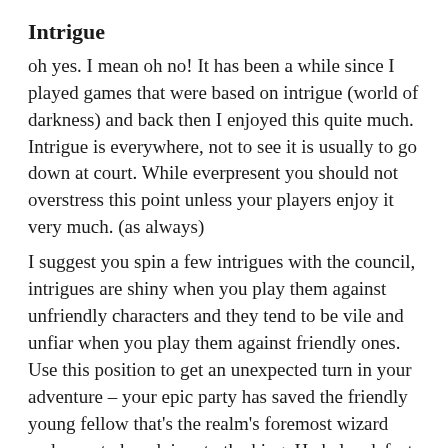Intrigue
oh yes. I mean oh no! It has been a while since I played games that were based on intrigue (world of darkness) and back then I enjoyed this quite much. Intrigue is everywhere, not to see it is usually to go down at court. While everpresent you should not overstress this point unless your players enjoy it very much. (as always)
I suggest you spin a few intrigues with the council, intrigues are shiny when you play them against unfriendly characters and they tend to be vile and unfiar when you play them against friendly ones. Use this position to get an unexpected turn in your adventure – your epic party has saved the friendly young fellow that's the realm's foremost wizard and soon to be advisor to the king. He helps defeat a vile scheme ongoing for many years against the king and becomes his chancellor or must trusted counselor. A year later the king is hardly the same, he seems to